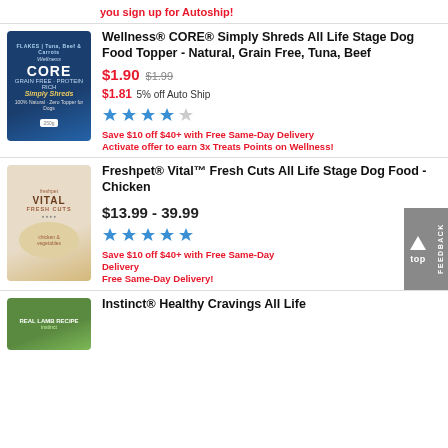you sign up for Autoship!
[Figure (photo): Wellness CORE Simply Shreds dog food topper package, dark blue, with tuna/beef/carrot recipe]
Wellness® CORE® Simply Shreds All Life Stage Dog Food Topper - Natural, Grain Free, Tuna, Beef
$1.90  $1.99
$1.81  5% off Auto Ship
[Figure (other): 4.5 star rating stars]
Save $10 off $40+ with Free Same-Day Delivery Activate offer to earn 3x Treats Points on Wellness!
[Figure (photo): Freshpet Vital Fresh Cuts dog food package, beige/cream with chicken and vegetables]
Freshpet® Vital™ Fresh Cuts All Life Stage Dog Food - Chicken
$13.99 - 39.99
[Figure (other): 5 star rating stars]
Save $10 off $40+ with Free Same-Day Delivery Free Same-Day Delivery!
[Figure (photo): Instinct Healthy Cravings package, green, lamb recipe]
Instinct® Healthy Cravings All Life